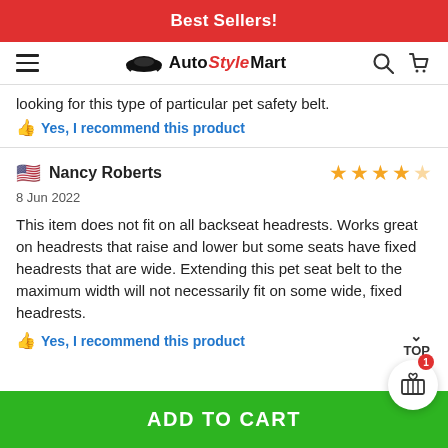Best Sellers!
[Figure (logo): Auto Style Mart logo with car silhouette, hamburger menu, search and cart icons]
looking for this type of particular pet safety belt.
Yes, I recommend this product
Nancy Roberts — 4 stars — 8 Jun 2022
This item does not fit on all backseat headrests. Works great on headrests that raise and lower but some seats have fixed headrests that are wide. Extending this pet seat belt to the maximum width will not necessarily fit on some wide, fixed headrests.
Yes, I recommend this product
ADD TO CART